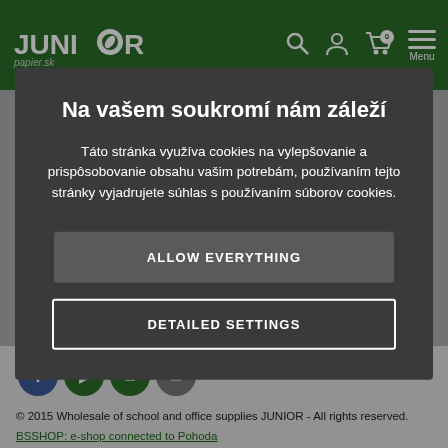JUNIOR papier.sk
Na vašem soukromí nám záleží
Táto stránka využíva cookies na vylepšovanie a prispôsobovanie obsahu vašim potrebám, používaním tejto stránky vyjadrujete súhlas s používaním súborov cookies.
ALLOW EVERYTHING
DETAILED SETTINGS
© 2015 Wholesale of school and office supplies JUNIOR - All rights reserved.
BSSHOP: e-shop connected to Pohoda